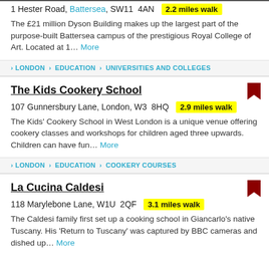1 Hester Road, Battersea, SW11 4AN  2.2 miles walk
The £21 million Dyson Building makes up the largest part of the purpose-built Battersea campus of the prestigious Royal College of Art. Located at 1... More
> LONDON > EDUCATION > UNIVERSITIES AND COLLEGES
The Kids Cookery School
107 Gunnersbury Lane, London, W3 8HQ  2.9 miles walk
The Kids' Cookery School in West London is a unique venue offering cookery classes and workshops for children aged three upwards. Children can have fun... More
> LONDON > EDUCATION > COOKERY COURSES
La Cucina Caldesi
118 Marylebone Lane, W1U 2QF  3.1 miles walk
The Caldesi family first set up a cooking school in Giancarlo's native Tuscany. His 'Return to Tuscany' was captured by BBC cameras and dished up... More